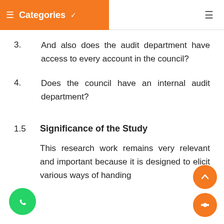Categories
3.    And also does the audit department have access to every account in the council?
4.    Does the council have an internal audit department?
1.5    Significance of the Study
This research work remains very relevant and important because it is designed to elicit various ways of handing